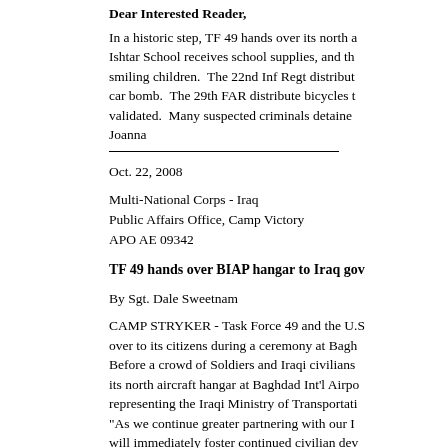Dear Interested Reader,
In a historic step, TF 49 hands over its north a... Ishtar School receives school supplies, and the... smiling children.  The 22nd Inf Regt distribut... car bomb.  The 29th FAR distribute bicycles t... validated.  Many suspected criminals detaine... Joanna
Oct. 22, 2008
Multi-National Corps - Iraq
Public Affairs Office, Camp Victory
APO AE 09342
TF 49 hands over BIAP hangar to Iraq gov...
By Sgt. Dale Sweetnam
CAMP STRYKER - Task Force 49 and the U.S... over to its citizens during a ceremony at Bagh... Before a crowd of Soldiers and Iraqi civilians... its north aircraft hangar at Baghdad Int'l Airpo... representing the Iraqi Ministry of Transportati... "As we continue greater partnering with our I... will immediately foster continued civilian dev... Col. Chandler Sherrell during the ceremony. "... international community access to the growin... inclusion in the community of nations, and be...